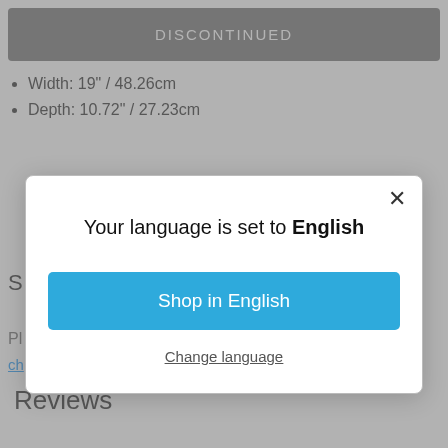DISCONTINUED
Width: 19" / 48.26cm
Depth: 10.72" / 27.23cm
[Figure (screenshot): Modal dialog overlay on a product page. The modal contains the text 'Your language is set to English', a blue button labeled 'Shop in English', and an underlined link 'Change language'. An X close button is in the top-right corner of the modal.]
Reviews